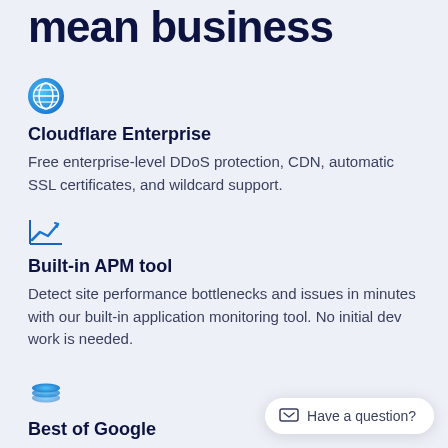mean business
[Figure (logo): Globe/network icon in blue-teal gradient circle]
Cloudflare Enterprise
Free enterprise-level DDoS protection, CDN, automatic SSL certificates, and wildcard support.
[Figure (logo): Chart/APM line graph icon in blue]
Built-in APM tool
Detect site performance bottlenecks and issues in minutes with our built-in application monitoring tool. No initial dev work is needed.
[Figure (logo): Stack/layers icon in blue-teal gradient]
Best of Google
Have a question?